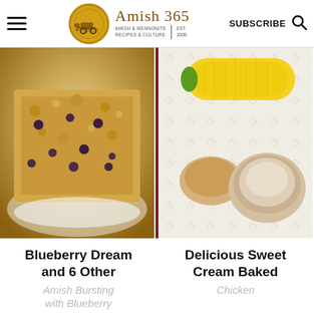Amish 365 — AMISH & MENNONITE RECIPES & CULTURE | EST. 2000 | SUBSCRIBE
[Figure (photo): Close-up of blueberry coffee cake or muffin bars with streusel topping on a white plate]
[Figure (photo): Plate with corn on the cob, applesauce, and a cream baked chicken piece on floral tablecloth]
Blueberry Dream and 6 Other
Delicious Sweet Cream Baked
Amish Bursting with Blueberry
Chicken